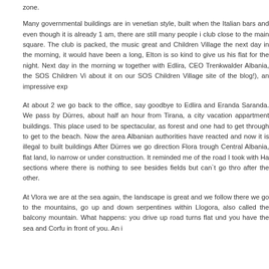zone.
Many governmental buildings are in venetian style, built when the Italian bars and even though it is already 1 am, there are still many people i club close to the main square. The club is packed, the music great and Children Village the next day in the morning, it would have been a long, Elton is so kind to give us his flat for the night. Next day in the morning w together with Edlira, CEO Trenkwalder Albania, the SOS Children Vi about it on our SOS Children Village site of the blog!), an impressive exp
At about 2 we go back to the office, say goodbye to Edlira and Eranda Saranda. We pass by Dürres, about half an hour from Tirana, a city vacation appartment buildings. This place used to be spectacular, as forest and one had to get through to get to the beach. Now the area Albanian authorities have reacted and now it is illegal to built buildings After Dürres we go direction Flora trough Central Albania, flat land, lo narrow or under construction. It reminded me of the road I took with Ha sections where there is nothing to see besides fields but can`t go thro after the other.
At Vlora we are at the sea again, the landscape is great and we follow there we go to the mountains, go up and down serpentines within Llogora, also called the balcony mountain. What happens: you drive up road turns flat und you have the sea and Corfu in front of you. An i